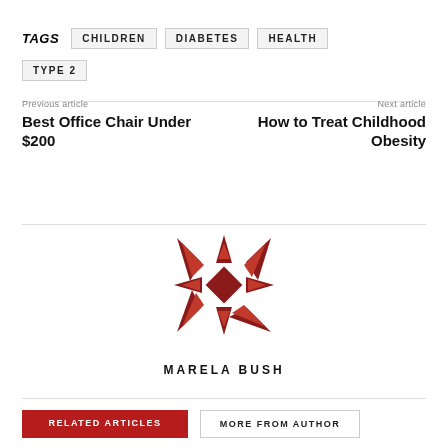TAGS  CHILDREN  DIABETES  HEALTH  TYPE 2
Previous article
Best Office Chair Under $200
Next article
How to Treat Childhood Obesity
[Figure (logo): Decorative snowflake/geometric pattern logo in dark red]
MARELA BUSH
RELATED ARTICLES
MORE FROM AUTHOR